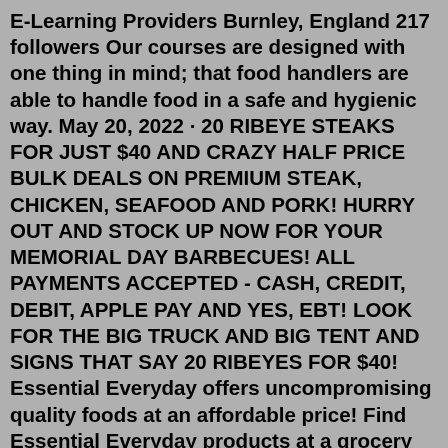E-Learning Providers Burnley, England 217 followers Our courses are designed with one thing in mind; that food handlers are able to handle food in a safe and hygienic way. May 20, 2022 · 20 RIBEYE STEAKS FOR JUST $40 AND CRAZY HALF PRICE BULK DEALS ON PREMIUM STEAK, CHICKEN, SEAFOOD AND PORK! HURRY OUT AND STOCK UP NOW FOR YOUR MEMORIAL DAY BARBECUES! ALL PAYMENTS ACCEPTED - CASH, CREDIT, DEBIT, APPLE PAY AND YES, EBT! LOOK FOR THE BIG TRUCK AND BIG TENT AND SIGNS THAT SAY 20 RIBEYES FOR $40! Essential Everyday offers uncompromising quality foods at an affordable price! Find Essential Everyday products at a grocery store near you. Essential Everyday offers uncompromising quality foods at an affordable price! Find Essential Everyday products at a grocery store near you. ESSENTIAL FOODS is British born, saluting the long-established connection between a quintessentially English country lifestyle and the premium quality of the